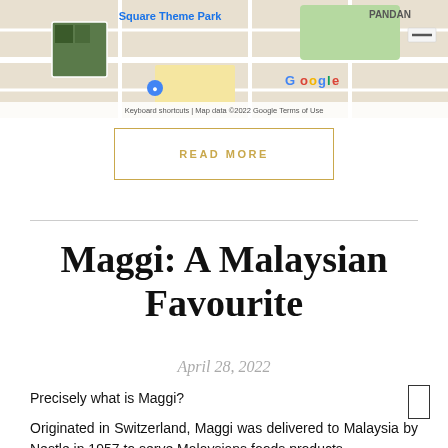[Figure (map): Google Maps screenshot showing Square Theme Park area and PANDAN neighborhood. Map includes satellite thumbnail, Google logo, keyboard shortcuts, map data copyright 2022 Google, and Terms of Use text.]
READ MORE
Maggi: A Malaysian Favourite
April 28, 2022
Precisely what is Maggi?
Originated in Switzerland, Maggi was delivered to Malaysia by Nestle in 1957 to serve Malaysians foods products